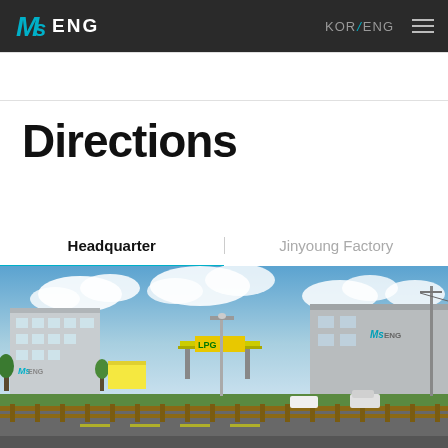MS ENG | KOR / ENG
Directions
Headquarter | Jinyoung Factory
[Figure (photo): Exterior photo of MS ENG headquarters building and surrounding area including an LPG station, roads with wooden fence barrier, trees, and blue sky with clouds.]